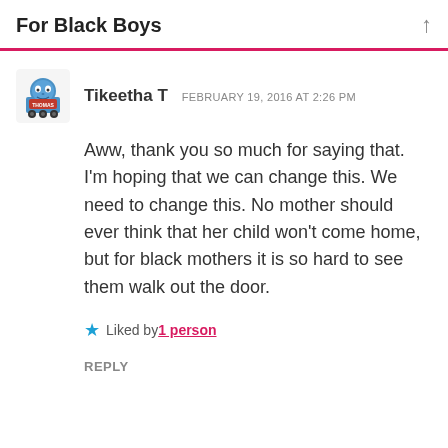For Black Boys
Tikeetha T  FEBRUARY 19, 2016 AT 2:26 PM
Aww, thank you so much for saying that. I'm hoping that we can change this. We need to change this. No mother should ever think that her child won't come home, but for black mothers it is so hard to see them walk out the door.
Liked by 1 person
REPLY